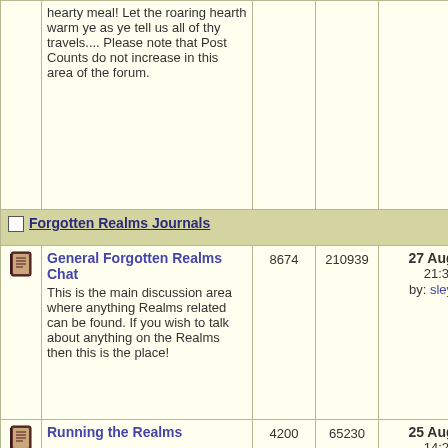| Forum | Posts | Threads | Last Post | Moderators |
| --- | --- | --- | --- | --- |
| hearty meal! Let the roaring hearth warm ye as ye tell us all of thy travels.... Please note that Post Counts do not increase in this area of the forum. |  |  |  |  |
| Forgotten Realms Journals (section header) |  |  |  |  |
| General Forgotten Realms Chat - This is the main discussion area where anything Realms related can be found. If you wish to talk about anything on the Realms then this is the place! | 8674 | 210939 | 27 Aug 2022 21:30:44 by: sleyvas → | Alaundo, The Sage, Wooly Rupe |
| Running the Realms | 4200 | 65230 | 25 Aug 2022 14:29:27 | Alaundo, The Sage, |